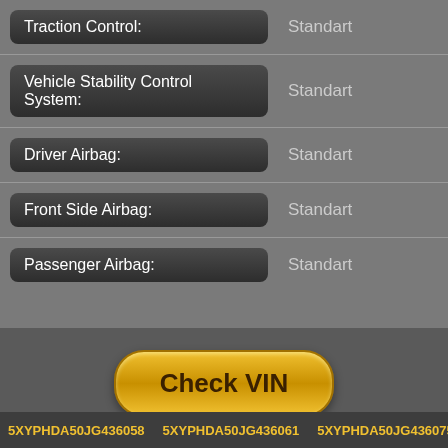| Feature | Value |
| --- | --- |
| Traction Control: | Standart |
| Vehicle Stability Control System: | Standart |
| Driver Airbag: | Standart |
| Front Side Airbag: | Standart |
| Passenger Airbag: | Standart |
[Figure (other): Golden rounded pill-shaped button labeled 'Check VIN']
5XYPHDA50JG436058   5XYPHDA50JG436061   5XYPHDA50JG436075   5XY...